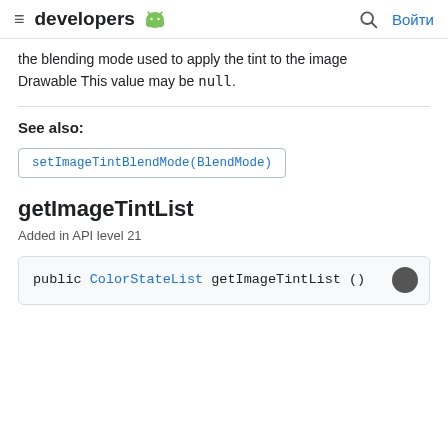developers
the blending mode used to apply the tint to the image Drawable This value may be null.
See also:
setImageTintBlendMode(BlendMode)
getImageTintList
Added in API level 21
public ColorStateList getImageTintList ()